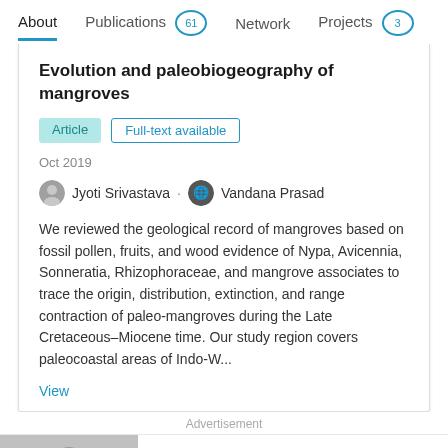About  Publications 61  Network  Projects 3
Evolution and paleobiogeography of mangroves
Article  Full-text available
Oct 2019
Jyoti Srivastava · Vandana Prasad
We reviewed the geological record of mangroves based on fossil pollen, fruits, and wood evidence of Nypa, Avicennia, Sonneratia, Rhizophoraceae, and mangrove associates to trace the origin, distribution, extinction, and range contraction of paleo-mangroves during the Late Cretaceous–Miocene time. Our study region covers paleocoastal areas of Indo-W...
View
Advertisement
ResearchGate
Are you recruiting experts in physics?